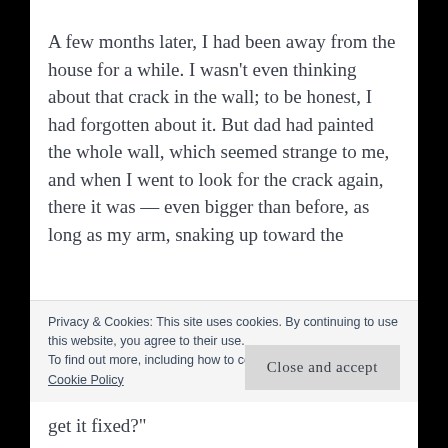A few months later, I had been away from the house for a while. I wasn't even thinking about that crack in the wall; to be honest, I had forgotten about it. But dad had painted the whole wall, which seemed strange to me, and when I went to look for the crack again, there it was — even bigger than before, as long as my arm, snaking up toward the
Privacy & Cookies: This site uses cookies. By continuing to use this website, you agree to their use.
To find out more, including how to control cookies, see here: Cookie Policy
Close and accept
get it fixed?"